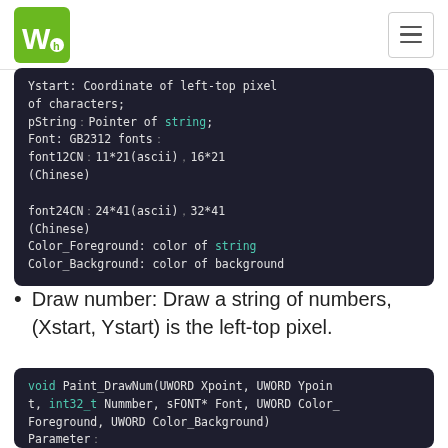Waveshare logo and navigation
Ystart: Coordinate of left-top pixel of characters;
        pString: Pointer of string;
        Font: GB2312 fonts
                    font12CN: 11*21(ascii), 16*21(Chinese)
                    font24CN: 24*41(ascii), 32*41(Chinese)
        Color_Foreground: color of string
        Color_Background: color of background
Draw number: Draw a string of numbers, (Xstart, Ystart) is the left-top pixel.
void Paint_DrawNum(UWORD Xpoint, UWORD Ypoint, int32_t Nummber, sFONT* Font, UWORD Color_Foreground, UWORD Color_Background)
Parameter: